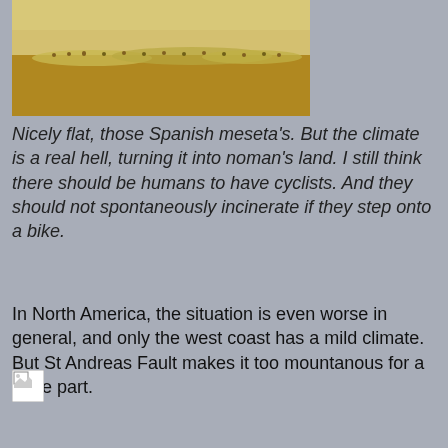[Figure (photo): Wide landscape photo of flat Spanish meseta terrain, showing a vast dry golden plain with what appears to be a flock of sheep or similar animals spread across the middle distance.]
Nicely flat, those Spanish meseta's. But the climate is a real hell, turning it into noman's land. I still think there should be humans to have cyclists. And they should not spontaneously incinerate if they step onto a bike.
In North America, the situation is even worse in general, and only the west coast has a mild climate. But St Andreas Fault makes it too mountanous for a large part.
[Figure (photo): A broken/missing image placeholder icon.]